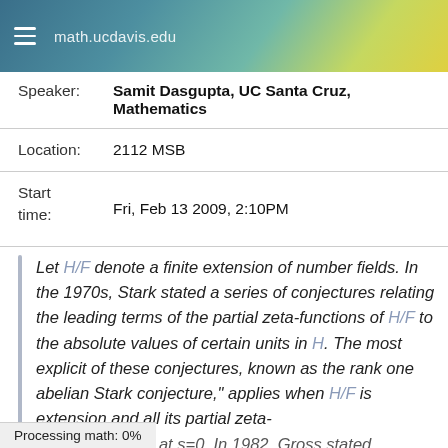math.ucdavis.edu
Speaker: Samit Dasgupta, UC Santa Cruz, Mathematics
Location: 2112 MSB
Start time: Fri, Feb 13 2009, 2:10PM
Let H/F denote a finite extension of number fields. In the 1970s, Stark stated a series of conjectures relating the leading terms of the partial zeta-functions of H/F to the absolute values of certain units in H. The most explicit of these conjectures, known as the rank one abelian Stark conjecture," applies when H/F is extension and all its partial zeta-functions vanish at s=0. In 1982, Gross stated
Processing math: 0%